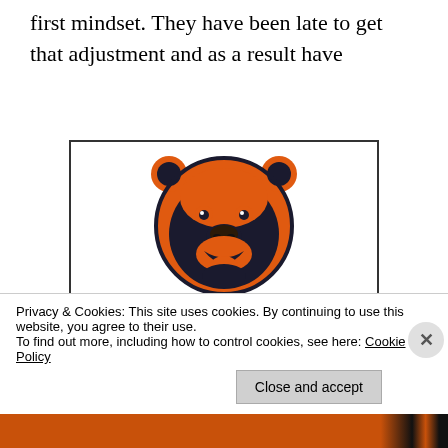first mindset. They have been late to get that adjustment and as a result have
[Figure (illustration): Chicago Bears NFL team logo — orange bear head with dark navy outline]
| 2017 Record |
| 5-11
(4th in Division) |
| Best Player |
| Jordan Howard, RB
(276 rsh, 1122 yds, 9 TD) |
Privacy & Cookies: This site uses cookies. By continuing to use this website, you agree to their use.
To find out more, including how to control cookies, see here: Cookie Policy
Close and accept